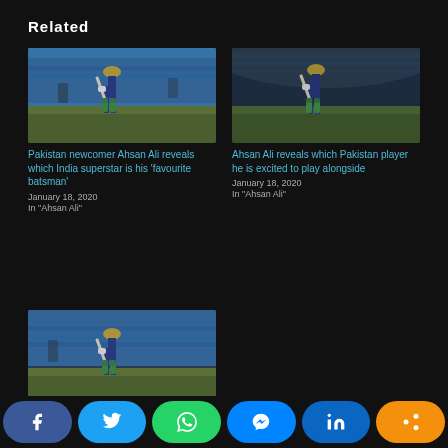Related
[Figure (photo): Cricket batsman Ahsan Ali in batting stance, wearing gold helmet, blue/green kit, blue stadium seats in background]
Pakistan newcomer Ahsan Ali reveals which India superstar is his 'favourite batsman'
January 18, 2020
In "Ahsan Ali"
[Figure (photo): Cricket batsman Ahsan Ali in batting stance, wearing gold helmet, blue/green kit, night match setting]
Ahsan Ali reveals which Pakistan player he is excited to play alongside
January 18, 2020
In "Ahsan Ali"
[Figure (photo): Cricket batsman Ahsan Ali in batting stance, wearing gold helmet, blue/green kit, stadium background]
What incredibly bold...